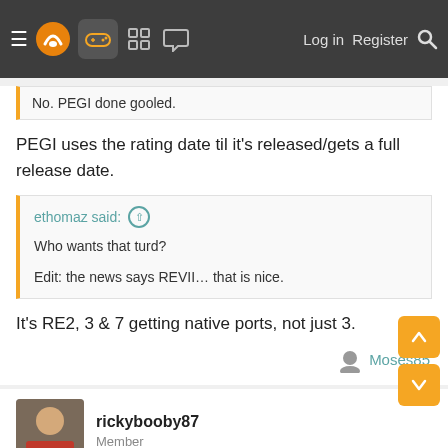≡ [logo] [controller icon] [grid icon] [chat icon]  Log in  Register  🔍
No. PEGI done gooled.
PEGI uses the rating date til it's released/gets a full release date.
ethomaz said: ↑
Who wants that turd?
Edit: the news says REVII… that is nice.
It's RE2, 3 & 7 getting native ports, not just 3.
Moses85
rickybooby87
Member